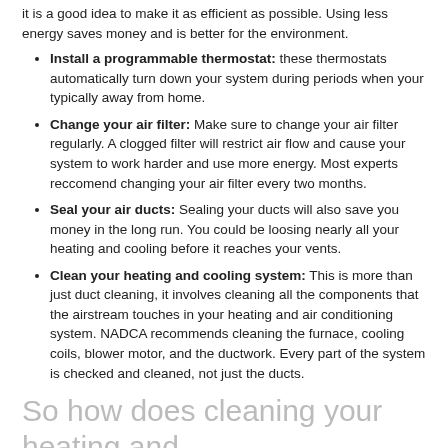it is a good idea to make it as efficient as possible. Using less energy saves money and is better for the environment.
Install a programmable thermostat: these thermostats automatically turn down your system during periods when your typically away from home.
Change your air filter: Make sure to change your air filter regularly. A clogged filter will restrict air flow and cause your system to work harder and use more energy. Most experts reccomend changing your air filter every two months.
Seal your air ducts: Sealing your ducts will also save you money in the long run. You could be loosing nearly all your heating and cooling before it reaches your vents.
Clean your heating and cooling system: This is more than just duct cleaning, it involves cleaning all the components that the airstream touches in your heating and air conditioning system. NADCA recommends cleaning the furnace, cooling coils, blower motor, and the ductwork. Every part of the system is checked and cleaned, not just the ducts.
So how does cleaning your heating and cooling system save you money?
A dirty cooling coil reduces efficiency: to cool your home air is blown across cold metal coils. When the coils get clogged with dirt, airflow is restricted and air can no longer contact the metal. This blocks airflow and limits the coils